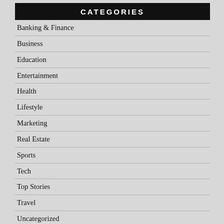CATEGORIES
Banking & Finance
Business
Education
Entertainment
Health
Lifestyle
Marketing
Real Estate
Sports
Tech
Top Stories
Travel
Uncategorized
World